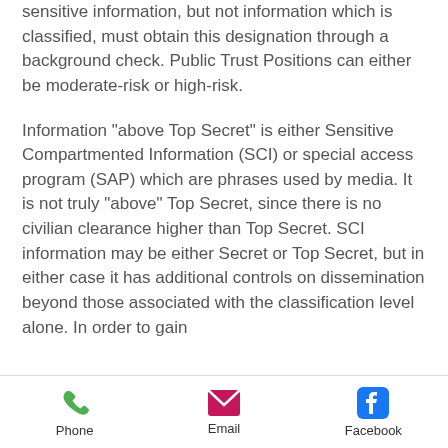sensitive information, but not information which is classified, must obtain this designation through a background check. Public Trust Positions can either be moderate-risk or high-risk.
Information "above Top Secret" is either Sensitive Compartmented Information (SCI) or special access program (SAP) which are phrases used by media. It is not truly "above" Top Secret, since there is no civilian clearance higher than Top Secret. SCI information may be either Secret or Top Secret, but in either case it has additional controls on dissemination beyond those associated with the classification level alone. In order to gain
[Figure (infographic): Mobile app footer navigation bar with three icons: Phone (green phone icon), Email (pink/magenta envelope icon), Facebook (blue Facebook logo icon)]